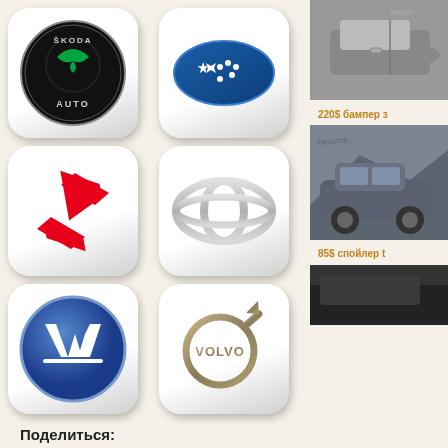[Figure (logo): Skoda Auto logo on rounded square tile]
[Figure (logo): Subaru logo (blue oval with stars) on rounded square tile]
[Figure (logo): Suzuki logo (red S diamond) on rounded square tile]
[Figure (logo): Toyota logo (silver ovals) on rounded square tile]
[Figure (logo): Volkswagen logo (blue circle VW) on rounded square tile]
[Figure (logo): Volvo logo (circle with arrow, VOLVO text) on rounded square tile]
Поделиться:
[Figure (illustration): VK, OK, Mail.ru, Twitter share buttons]
[Figure (photo): Photo of car side panel (partial, right column top)]
220$ бампер з
[Figure (photo): Photo of small hatchback car on road]
85$ спойлер t
[Figure (photo): Photo of car partial (right column bottom)]